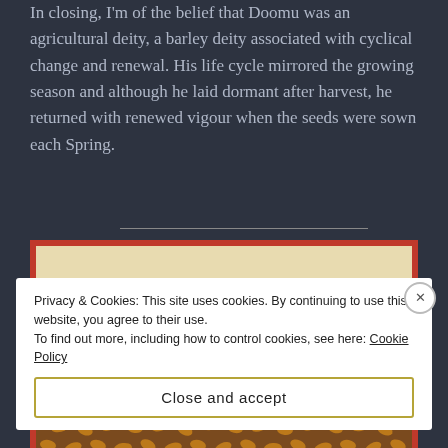In closing, I'm of the belief that Doomu was an agricultural deity, a barley deity associated with cyclical change and renewal. His life cycle mirrored the growing season and although he laid dormant after harvest, he returned with renewed vigour when the seeds were sown each Spring.
[Figure (illustration): An ancient or medieval illustration of a barley/wheat field, depicted with dense stalks and grain heads rendered in warm brown and golden tones against a cream/beige background, framed with a red border.]
Privacy & Cookies: This site uses cookies. By continuing to use this website, you agree to their use.
To find out more, including how to control cookies, see here: Cookie Policy
Close and accept